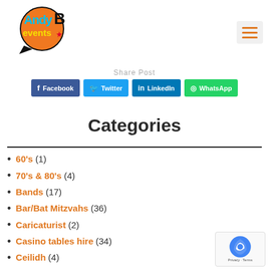AndyB Events logo and navigation
Share Post
Facebook  Twitter  LinkedIn  WhatsApp
Categories
60's (1)
70's & 80's (4)
Bands (17)
Bar/Bat Mitzvahs (36)
Caricaturist (2)
Casino tables hire (34)
Ceilidh (4)
Chair Covers (9)
Chocolate Fountains hire (61)